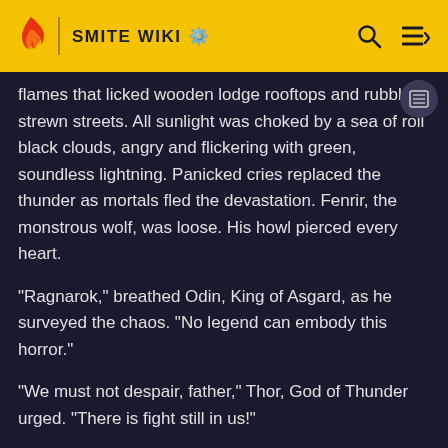SMITE WIKI
flames that licked wooden lodge rooftops and rubble strewn streets. All sunlight was choked by a sea of roil black clouds, angry and flickering with green, soundless lightning. Panicked cries replaced the thunder as mortals fled the devastation. Fenrir, the monstrous wolf, was loose. His howl pierced every heart.
"Ragnarok," breathed Odin, King of Asgard, as he surveyed the chaos. "No legend can embody this horror."
"We must not despair, father," Thor, God of Thunder urged. "There is fight still in us!"
They watched Ymir, flanked by more Ice Giants, smash through a tower, leaving it shapeless rubble. Mortals